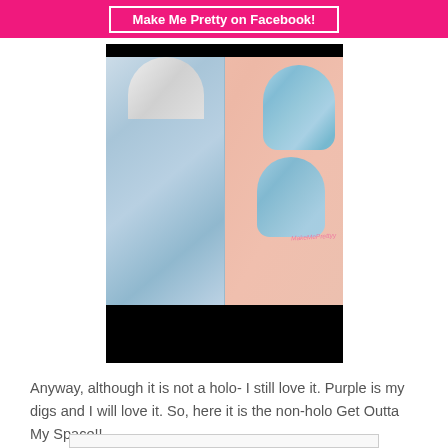Make Me Pretty on Facebook!
[Figure (photo): Close-up photo of a nail polish bottle and a hand with nails painted in a holographic/iridescent light blue shimmer polish. The bottle is transparent/silver with a white cap. A watermark reads 'MakeMePrettyy' in pink script. The bottom portion of the image is blacked out.]
Anyway, although it is not a holo- I still love it. Purple is my digs and I will love it. So, here it is the non-holo Get Outta My Space!!